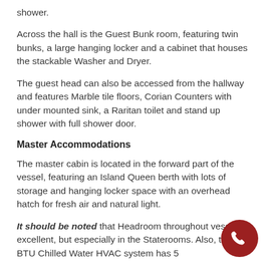shower.
Across the hall is the Guest Bunk room, featuring twin bunks, a large hanging locker and a cabinet that houses the stackable Washer and Dryer.
The guest head can also be accessed from the hallway and features Marble tile floors, Corian Counters with under mounted sink, a Raritan toilet and stand up shower with full shower door.
Master Accommodations
The master cabin is located in the forward part of the vessel, featuring an Island Queen berth with lots of storage and hanging locker space with an overhead hatch for fresh air and natural light.
It should be noted that Headroom throughout vessel is excellent, but especially in the Staterooms. Also, the 60k BTU Chilled Water HVAC system has 5